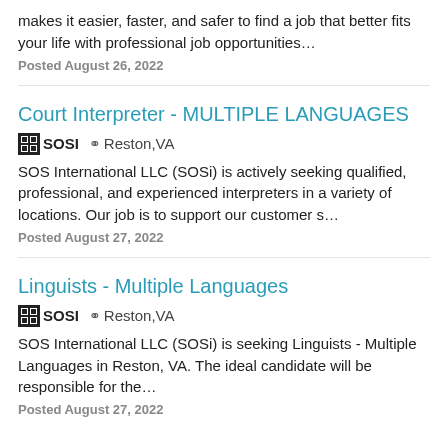makes it easier, faster, and safer to find a job that better fits your life with professional job opportunities…
Posted August 26, 2022
Court Interpreter - MULTIPLE LANGUAGES
SOSI  Reston,VA
SOS International LLC (SOSi) is actively seeking qualified, professional, and experienced interpreters in a variety of locations. Our job is to support our customer s…
Posted August 27, 2022
Linguists - Multiple Languages
SOSI  Reston,VA
SOS International LLC (SOSi) is seeking Linguists - Multiple Languages in Reston, VA. The ideal candidate will be responsible for the…
Posted August 27, 2022